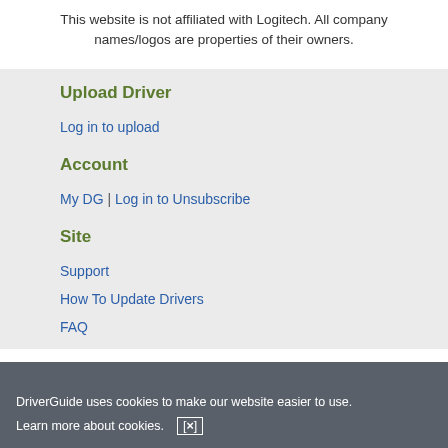This website is not affiliated with Logitech. All company names/logos are properties of their owners.
Upload Driver
Log in to upload
Account
My DG | Log in to Unsubscribe
Site
Support
How To Update Drivers
FAQ
About Us
Overview
Contact Us
DriverGuide uses cookies to make our website easier to use. Learn more about cookies. [x]